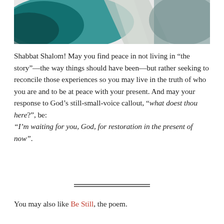[Figure (illustration): Abstract teal and silver brushstroke artwork at the top of the page]
Shabbat Shalom! May you find peace in not living in “the story”—the way things should have been—but rather seeking to reconcile those experiences so you may live in the truth of who you are and to be at peace with your present. And may your response to God’s still-small-voice callout, “what doest thou here?”, be: “I’m waiting for you, God, for restoration in the present of now”.
You may also like Be Still, the poem.